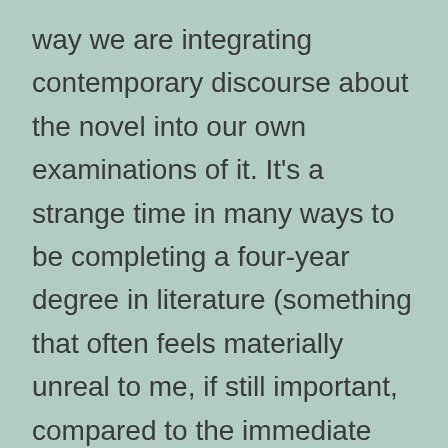way we are integrating contemporary discourse about the novel into our own examinations of it. It's a strange time in many ways to be completing a four-year degree in literature (something that often feels materially unreal to me, if still important, compared to the immediate material crises of the contemporary world). Still, this news cycle does remind me that understanding and furthering the public discourse about literature carries material importance of its own.